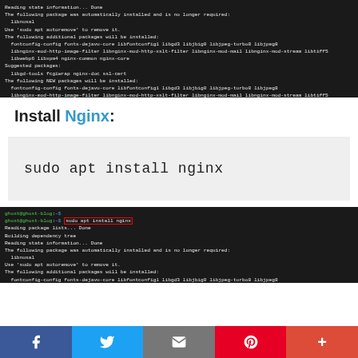[Figure (screenshot): Terminal output showing apt package installation process, continuation of a package install with dependency resolution and disk space confirmation prompt 'Do you want to continue? [Y/n] Y']
Install Nginx:
[Figure (screenshot): Code block showing command: sudo apt install nginx]
[Figure (screenshot): Terminal screenshot showing 'ghost@ghost-blog:~$' prompt with 'sudo apt install nginx' command highlighted in red box, followed by package manager output including Reading package lists, Building dependency tree, Reading state information, and package installation details]
Social sharing bar with Facebook, Twitter, Email, Pinterest, and share buttons